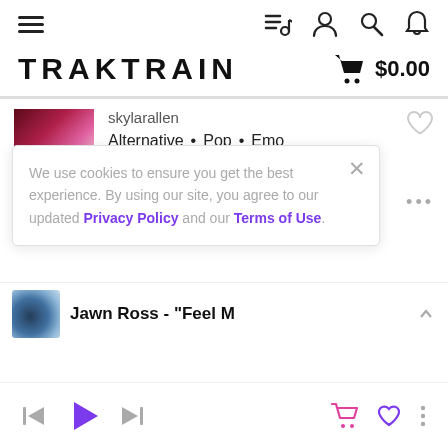Navigation bar with hamburger menu, music queue, user, search, and notification icons
TRAKTRAIN $0.00
[Figure (screenshot): Album art thumbnail with pink/red gradient design, 157 BPM badge]
skylarallen
Alternative • Pop • Emo
oliver francis type beat   oliver francis
We use cookies to ensure you get the best experience. By using our site, you agree to our updated Privacy Policy and our Terms of Use.
Jawn Ross - "Feel M
Player controls: prev, play, next, cart, heart, more